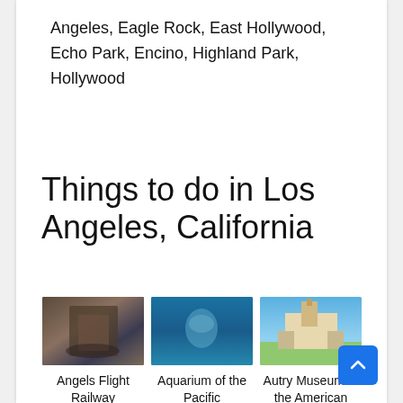Angeles, Eagle Rock, East Hollywood, Echo Park, Encino, Highland Park, Hollywood
Things to do in Los Angeles, California
[Figure (photo): Three photos of Los Angeles attractions side by side: Angels Flight Railway (funicular railway with people), Aquarium of the Pacific (underwater jellyfish tank), Autry Museum of the American West (mission-style building with clocktower and green lawn).]
Angels Flight Railway
Aquarium of the Pacific
Autry Museum of the American West